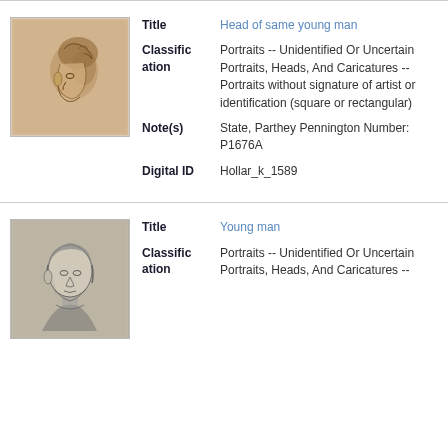[Figure (photo): Sketch/drawing of a young man's head in profile, facing left, with curly hair, sepia toned, on aged paper.]
Title: Head of same young man
Classification: Portraits -- Unidentified Or Uncertain Portraits, Heads, And Caricatures -- Portraits without signature of artist or identification (square or rectangular)
Note(s): State, Parthey Pennington Number: P1676A
Digital ID: Hollar_k_1589
[Figure (photo): Engraving/print of a young man's head facing slightly right, with straight hair, in fine line art style.]
Title: Young man
Classification: Portraits -- Unidentified Or Uncertain Portraits, Heads, And Caricatures --